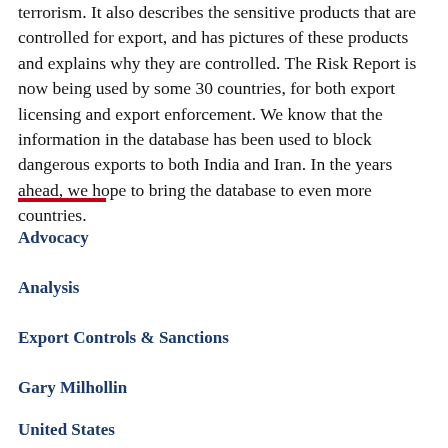terrorism. It also describes the sensitive products that are controlled for export, and has pictures of these products and explains why they are controlled. The Risk Report is now being used by some 30 countries, for both export licensing and export enforcement. We know that the information in the database has been used to block dangerous exports to both India and Iran. In the years ahead, we hope to bring the database to even more countries.
Advocacy
Analysis
Export Controls & Sanctions
Gary Milhollin
United States